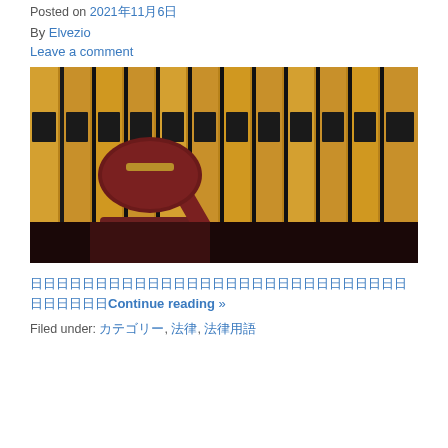Posted on 2021年11月6日
By Elvezio
Leave a comment
[Figure (photo): A wooden judge's gavel resting on its sound block in front of a row of gold and dark law books on shelves, photographed close-up with warm amber lighting.]
日本語テキスト（省略）Continue reading »
Filed under: カテゴリー, 法律, 法律用語